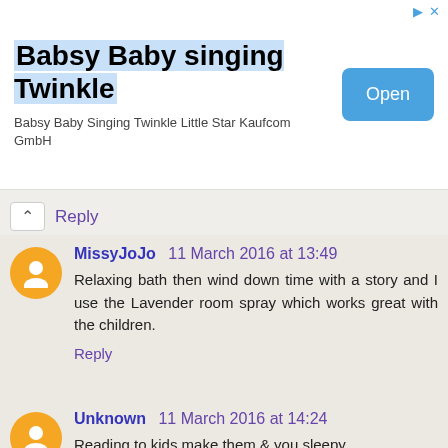[Figure (screenshot): Advertisement banner for 'Babsy Baby singing Twinkle' app with blue highlighted title text, subtitle 'Babsy Baby Singing Twinkle Little Star Kaufcom GmbH', and a blue 'Open' button on the right.]
Reply
MissyJoJo 11 March 2016 at 13:49
Relaxing bath then wind down time with a story and I use the Lavender room spray which works great with the children.
Reply
Unknown 11 March 2016 at 14:24
Reading to kids make them & you sleepy.
Reply
Gemma Holland 11 March 2016 at 15:01